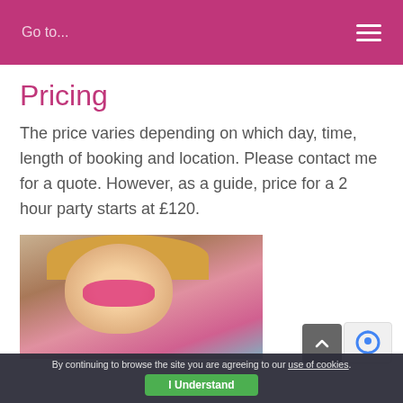Go to...
Pricing
The price varies depending on which day, time, length of booking and location. Please contact me for a quote. However, as a guide, price for a 2 hour party starts at £120.
[Figure (photo): Photo of a child with face painting - pink and colourful face paint design on a young child with blonde hair]
By continuing to browse the site you are agreeing to our use of cookies. I Understand